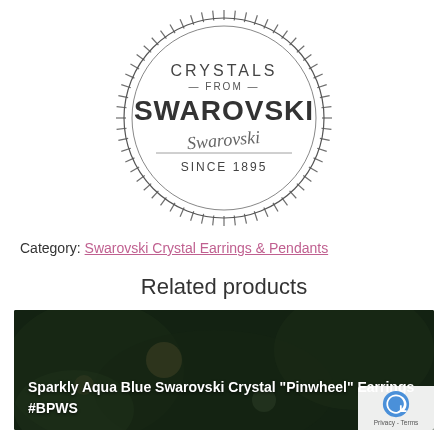[Figure (logo): Crystals from Swarovski since 1895 circular logo with radiating lines and signature]
Category: Swarovski Crystal Earrings & Pendants
Related products
[Figure (photo): Product card with dark background showing jewelry, text overlay: Sparkly Aqua Blue Swarovski Crystal "Pinwheel" Earrings #BPWS]